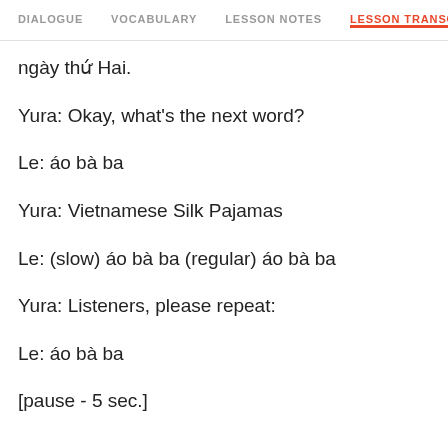DIALOGUE  VOCABULARY  LESSON NOTES  LESSON TRANSCRIPT
ngày thứ Hai.
Yura: Okay, what's the next word?
Le: áo bà ba
Yura: Vietnamese Silk Pajamas
Le: (slow) áo bà ba (regular) áo bà ba
Yura: Listeners, please repeat:
Le: áo bà ba
[pause - 5 sec.]